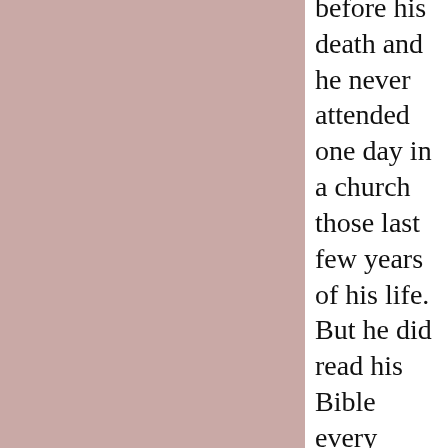before his death and he never attended one day in a church those last few years of his life. But he did read his Bible every night